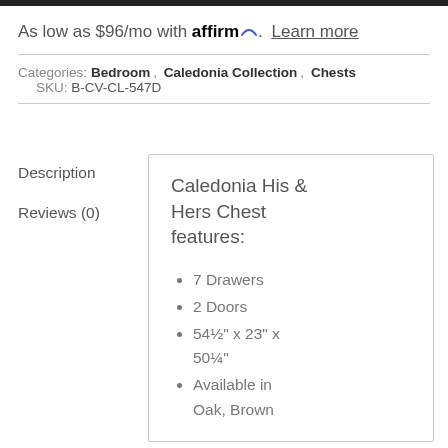As low as $96/mo with affirm. Learn more
Categories: Bedroom, Caledonia Collection, Chests   SKU: B-CV-CL-547D
Description
Reviews (0)
Caledonia His & Hers Chest features:
7 Drawers
2 Doors
54½" x 23" x 50¼"
Available in Oak, Brown